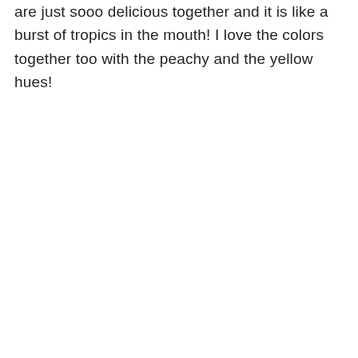are just sooo delicious together and it is like a burst of tropics in the mouth! I love the colors together too with the peachy and the yellow hues!